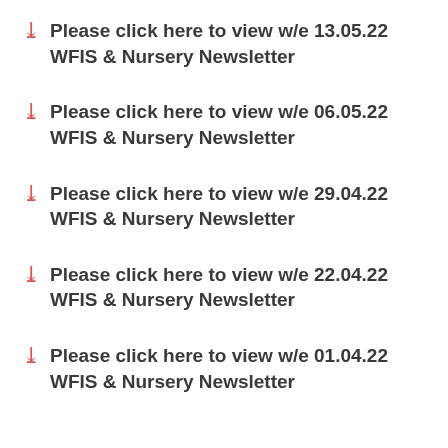Please click here to view w/e 13.05.22 WFIS & Nursery Newsletter
Please click here to view w/e 06.05.22 WFIS & Nursery Newsletter
Please click here to view w/e 29.04.22 WFIS & Nursery Newsletter
Please click here to view w/e 22.04.22 WFIS & Nursery Newsletter
Please click here to view w/e 01.04.22 WFIS & Nursery Newsletter